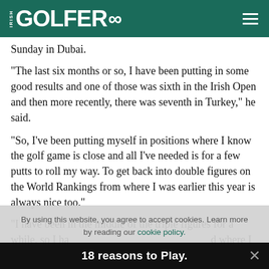IRISH GOLFER
Sunday in Dubai.
“The last six months or so, I have been putting in some good results and one of those was sixth in the Irish Open and then more recently, there was seventh in Turkey,” he said.
“So, I’ve been putting myself in positions where I know the golf game is close and all I’ve needed is for a few putts to roll my way. To get back into double figures on the World Rankings from where I was earlier this year is always nice too.”
“I have been in the middle of the triple figures for a while, so I ha…d where I
By using this website, you agree to accept cookies. Learn more by reading our cookie policy.
18 reasons to Play.